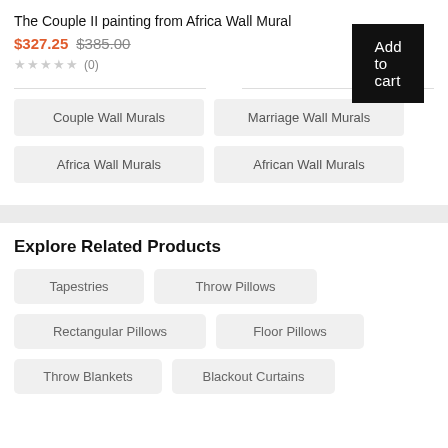The Couple II painting from Africa Wall Mural
$327.25 $385.00
★★★★★ (0)
Add to cart
Couple Wall Murals
Marriage Wall Murals
Africa Wall Murals
African Wall Murals
Explore Related Products
Tapestries
Throw Pillows
Rectangular Pillows
Floor Pillows
Throw Blankets
Blackout Curtains